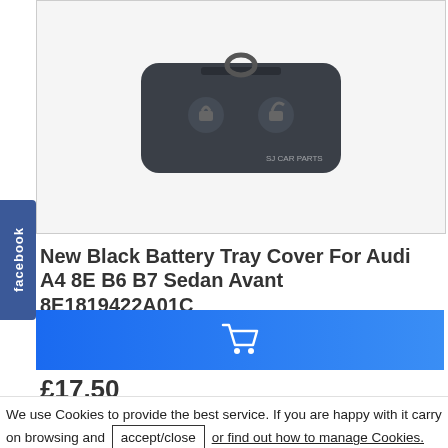[Figure (photo): Black Audi key fob / battery tray cover product image against a light background, with 'SJ CAR PARTS' watermark visible]
New Black Battery Tray Cover For Audi A4 8E B6 B7 Sedan Avant 8E1819422A01C
x Battery tray cover for Audi Brand new Colour: Black Material: High Quality Plastic ..
£17.50
Ex Tax: £14.58
[Figure (other): Blue Add to Cart button with shopping cart icon]
We use Cookies to provide the best service. If you are happy with it carry on browsing and accept/close or find out how to manage Cookies.